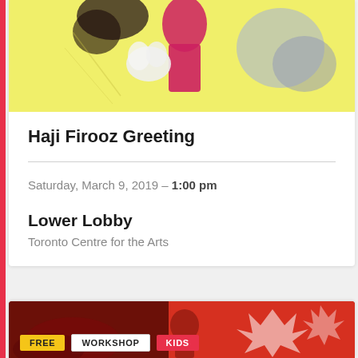[Figure (photo): Colorful art image for Haji Firooz Greeting event — yellow and pink/red tones with figure silhouette]
Haji Firooz Greeting
Saturday, March 9, 2019 – 1:00 pm
Lower Lobby
Toronto Centre for the Arts
[Figure (photo): Red/orange collage image with FREE, WORKSHOP, KIDS badges]